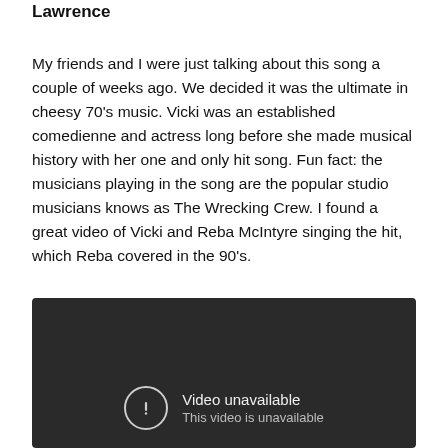Lawrence
My friends and I were just talking about this song a couple of weeks ago.  We decided it was the ultimate in cheesy 70's music.  Vicki was an established comedienne and actress long before she made musical history with her one and only hit song.  Fun fact: the musicians playing in the song are the popular studio musicians knows as The Wrecking Crew.   I found a great video of Vicki and Reba McIntyre singing the hit, which Reba covered in the 90's.
[Figure (screenshot): Embedded video player showing 'Video unavailable - This video is unavailable' message on a dark background]